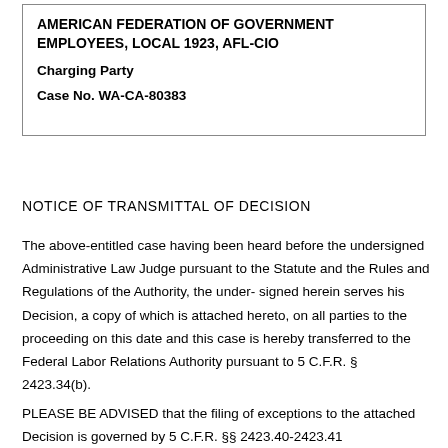AMERICAN FEDERATION OF GOVERNMENT EMPLOYEES, LOCAL 1923, AFL-CIO
Charging Party
Case No. WA-CA-80383
NOTICE OF TRANSMITTAL OF DECISION
The above-entitled case having been heard before the undersigned Administrative Law Judge pursuant to the Statute and the Rules and Regulations of the Authority, the under-signed herein serves his Decision, a copy of which is attached hereto, on all parties to the proceeding on this date and this case is hereby transferred to the Federal Labor Relations Authority pursuant to 5 C.F.R. § 2423.34(b).
PLEASE BE ADVISED that the filing of exceptions to the attached Decision is governed by 5 C.F.R. §§ 2423.40-2423.41